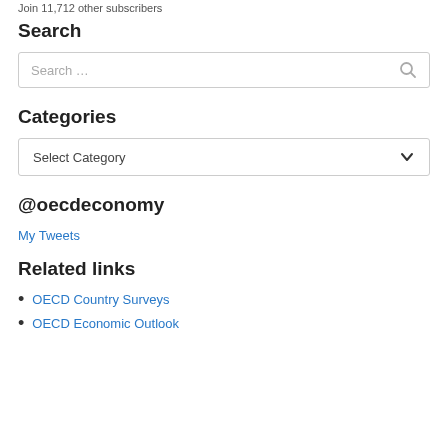Join 11,712 other subscribers
Search
[Figure (screenshot): Search input box with placeholder text 'Search …' and a search icon on the right]
Categories
[Figure (screenshot): Dropdown selector with 'Select Category' placeholder and a chevron down arrow]
@oecdeconomy
My Tweets
Related links
OECD Country Surveys
OECD Economic Outlook